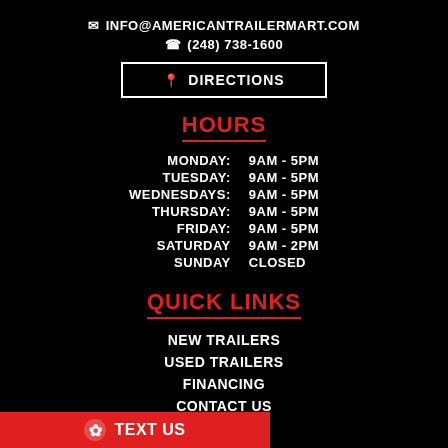✉ INFO@AMERICANTRAILERMART.COM
☎ (248) 738-1600
📍 DIRECTIONS
HOURS
| Day | Hours |
| --- | --- |
| MONDAY: | 9AM - 5PM |
| TUESDAY: | 9AM - 5PM |
| WEDNESDAYS: | 9AM - 5PM |
| THURSDAY: | 9AM - 5PM |
| FRIDAY: | 9AM - 5PM |
| SATURDAY | 9AM - 2PM |
| SUNDAY | CLOSED |
QUICK LINKS
NEW TRAILERS
USED TRAILERS
FINANCING
CONTACT US
TEXT US